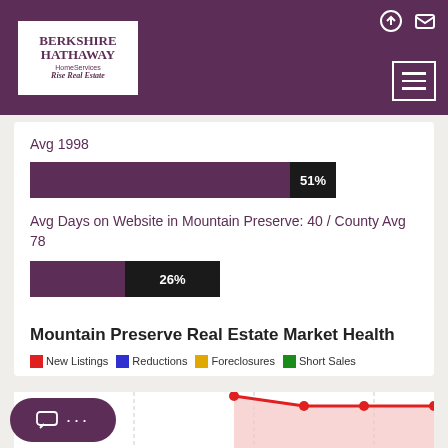[Figure (logo): Berkshire Hathaway HomeServices Rise Real Estate logo in white box on purple header]
Avg 1998
[Figure (bar-chart): Avg 1998]
Avg Days on Website in Mountain Preserve: 40 / County Avg 78
[Figure (bar-chart): Avg Days on Website]
Mountain Preserve Real Estate Market Health
New Listings   Reductions   Foreclosures   Short Sales
[Figure (line-chart): Partial line chart showing New Listings trend in red with shaded area, chart is cut off at bottom of page]